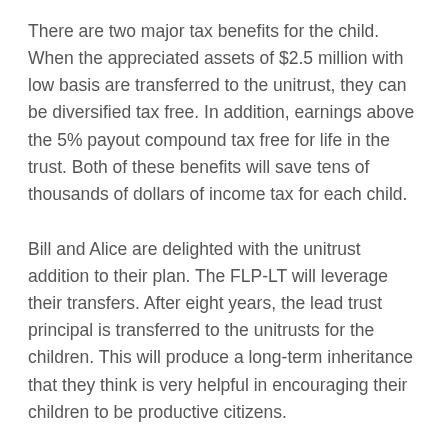There are two major tax benefits for the child. When the appreciated assets of $2.5 million with low basis are transferred to the unitrust, they can be diversified tax free. In addition, earnings above the 5% payout compound tax free for life in the trust. Both of these benefits will save tens of thousands of dollars of income tax for each child.
Bill and Alice are delighted with the unitrust addition to their plan. The FLP-LT will leverage their transfers. After eight years, the lead trust principal is transferred to the unitrusts for the children. This will produce a long-term inheritance that they think is very helpful in encouraging their children to be productive citizens.
In addition, there will be large savings in capital gains